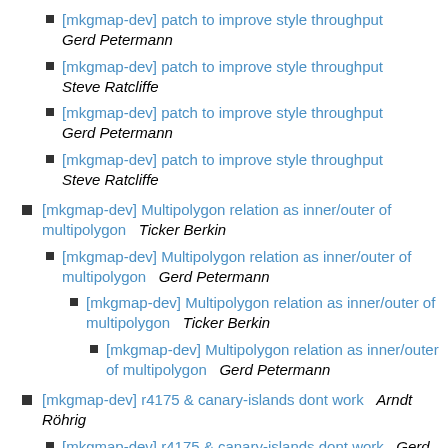[mkgmap-dev] patch to improve style throughput  Gerd Petermann
[mkgmap-dev] patch to improve style throughput  Steve Ratcliffe
[mkgmap-dev] patch to improve style throughput  Gerd Petermann
[mkgmap-dev] patch to improve style throughput  Steve Ratcliffe
[mkgmap-dev] Multipolygon relation as inner/outer of multipolygon  Ticker Berkin
[mkgmap-dev] Multipolygon relation as inner/outer of multipolygon  Gerd Petermann
[mkgmap-dev] Multipolygon relation as inner/outer of multipolygon  Ticker Berkin
[mkgmap-dev] Multipolygon relation as inner/outer of multipolygon  Gerd Petermann
[mkgmap-dev] r4175 & canary-islands dont work  Arndt Röhrig
[mkgmap-dev] r4175 & canary-islands dont work  Gerd